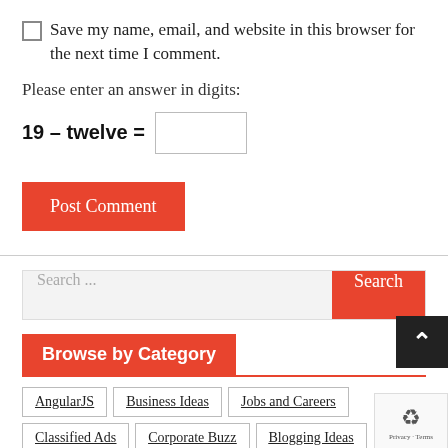Save my name, email, and website in this browser for the next time I comment.
Please enter an answer in digits:
19 – twelve =
Post Comment
Search ...
Browse by Category
AngularJS
Business Ideas
Jobs and Careers
Classified Ads
Corporate Buzz
Blogging Ideas